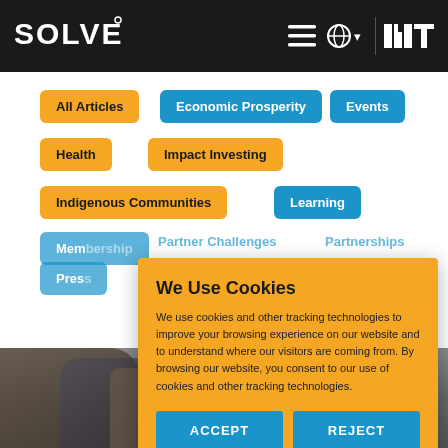SOLVE® MIT
All Articles
Economic Prosperity
Events
Health
Impact Investing
Indigenous Communities
Learning
Membership
Partner Challenges
Partnerships
Press
Sponsorship
Sustainability
[Figure (photo): Photo of people at bottom of page]
We Use Cookies
We use cookies and other tracking technologies to improve your browsing experience on our website and to understand where our visitors are coming from. By browsing our website, you consent to our use of cookies and other tracking technologies.
ACCEPT
REJECT